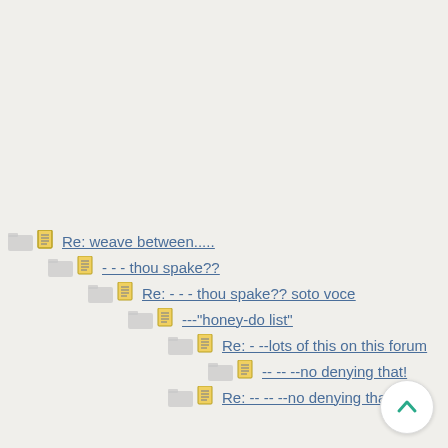Re: weave between.....
- - - thou spake??
Re: - - - thou spake?? soto voce
---"honey-do list"
Re: - --lots of this on this forum
-- -- --no denying that!
Re: -- -- --no denying that!